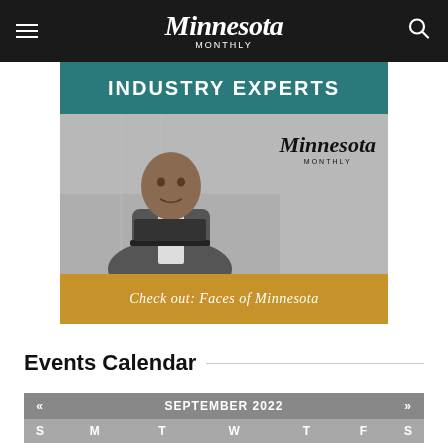Minnesota Monthly
[Figure (photo): Advertisement banner for Minnesota Monthly 'Industry Experts' feature, showing a businessman with laptop, teal header bar reading 'INDUSTRY EXPERTS', Minnesota Monthly logo overlay, and gold bar reading 'Check out: Faces of Minnesota']
Events Calendar
| « | SEPTEMBER 2022 | » |
| --- | --- | --- |
| S | M | T | W | T | F | S |